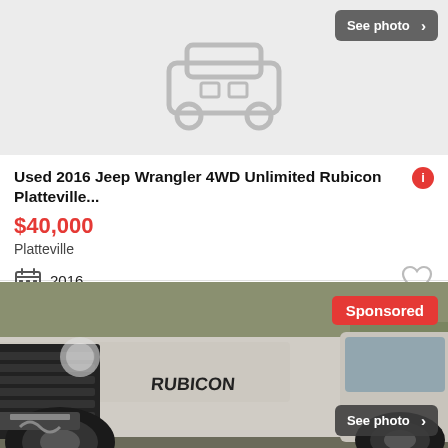[Figure (screenshot): Car placeholder icon on light gray background]
See photo >
Used 2016 Jeep Wrangler 4WD Unlimited Rubicon Platteville...
$40,000
Platteville
2016
30+ days ago
View car
[Figure (photo): White Jeep Rubicon front grille close-up, outdoor setting]
Sponsored
See photo >